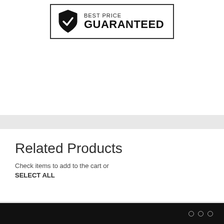[Figure (logo): Best Price Guaranteed badge with a shield checkmark icon on the left and text 'BEST PRICE GUARANTEED' on the right, enclosed in a rectangular border.]
Related Products
Check items to add to the cart or SELECT ALL
We found other products you might like!
○ ○ ○